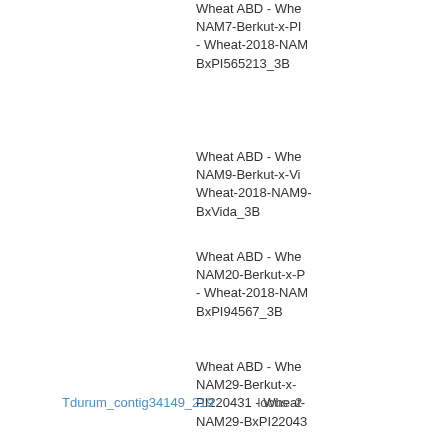Wheat ABD - Wheat NAM7-Berkut-x-PI565213 - Wheat-2018-NAM7-BxPI565213_3B
Wheat ABD - Wheat NAM9-Berkut-x-Vida - Wheat-2018-NAM9-BxVida_3B
Wheat ABD - Wheat NAM20-Berkut-x-PI94567 - Wheat-2018-NAM20-BxPI94567_3B
Wheat ABD - Wheat NAM29-Berkut-x-PI220431 - Wheat-2018-NAM29-BxPI220431
Tdurum_contig34149_219  locus  2
Wheat ABD - Wheat_2014_90KSNP - Wheat_2014_90KSNP
Wheat ABD - Wheat NAM28-Berkut-x-PI210945 - Wheat-2018-NAM28-BxPI210945
Wheat ABD - Wheat NAM10-Berkut-x-PI9791 - Wheat-2018-NAM10